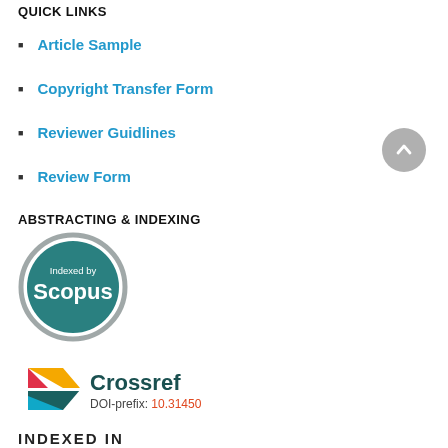QUICK LINKS
Article Sample
Copyright Transfer Form
Reviewer Guidlines
Review Form
ABSTRACTING & INDEXING
[Figure (logo): Scopus 'Indexed by' badge — circular grey border with teal fill, white text 'Indexed by' and 'Scopus']
[Figure (logo): Crossref logo with colourful arrow-like shape, text 'Crossref' in dark teal and 'DOI-prefix: 10.31450' in orange-red]
[Figure (logo): INDEXED IN logo with orange/red branding, partially visible at bottom]